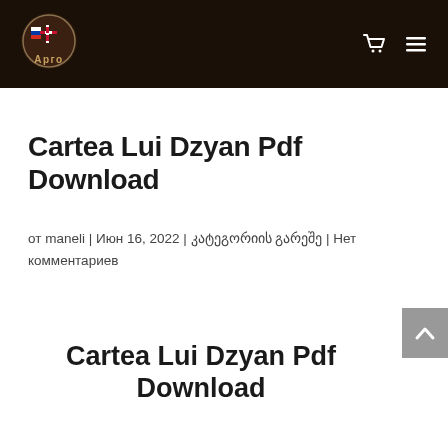Арго [logo with navigation cart and menu icons]
Cartea Lui Dzyan Pdf Download
от maneli | Июн 16, 2022 | კატეგორიის გარეშე | Нет комментариев
Cartea Lui Dzyan Pdf Download